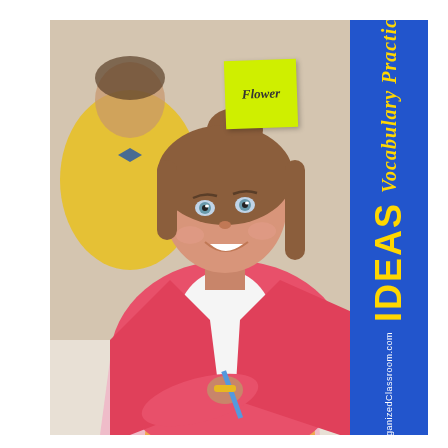[Figure (photo): A smiling girl in a pink cardigan with a yellow sticky note labeled 'Flower' on her forehead, sitting at a desk writing. A boy in yellow is blurred in the background.]
Vocabulary Practice IDEAS
OrganizedClassroom.com